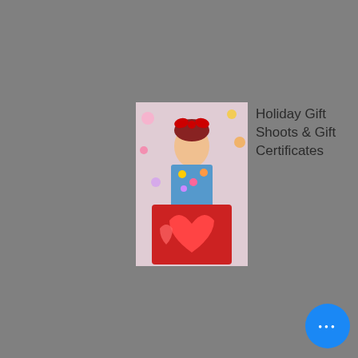[Figure (photo): Photo of woman in retro holiday outfit holding red heart blanket with Christmas decorations]
Holiday Gift Shoots & Gift Certificates
[Figure (photo): Shop Small Saturday promotional image with vintage pinup illustration and snowflakes]
The Gift of Pinup! we have deals and Sales on all our packages thru Cyber MONDAY!
[Figure (photo): Family holiday photo shoot with people in pink pajamas near Christmas tree]
Holiday Family or Solo Shoots 15 and 30 minutes shoots